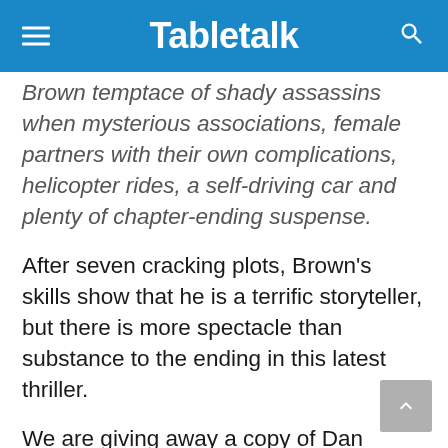Tabletalk
Brown temptace of shady assassins when mysterious associations, female partners with their own complications, helicopter rides, a self-driving car and plenty of chapter-ending suspense.
After seven cracking plots, Brown's skills show that he is a terrific storyteller, but there is more spectacle than substance to the ending in this latest thriller.
We are giving away a copy of Dan Brown's Origin. To enter, SMS Origin with your name, surname and email address to 33258 before midnight on Sunday November 26. SMSes cost R1.50 each.